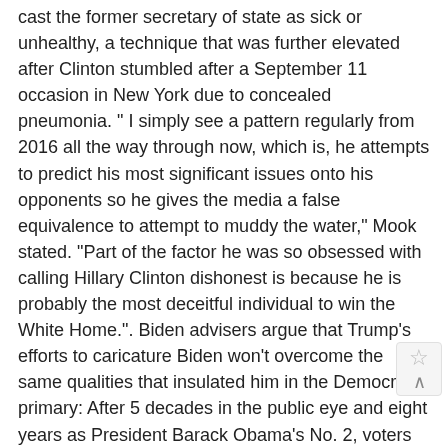cast the former secretary of state as sick or unhealthy, a technique that was further elevated after Clinton stumbled after a September 11 occasion in New York due to concealed pneumonia. " I simply see a pattern regularly from 2016 all the way through now, which is, he attempts to predict his most significant issues onto his opponents so he gives the media a false equivalence to attempt to muddy the water," Mook stated. "Part of the factor he was so obsessed with calling Hillary Clinton dishonest is because he is probably the most deceitful individual to win the White Home.". Biden advisers argue that Trump's efforts to caricature Biden won't overcome the same qualities that insulated him in the Democratic primary: After 5 decades in the public eye and eight years as President Barack Obama's No. 2, voters feel like they know him. Biden frequently expresses distaste for attacks on his rivals' character. His aides say that by questioning Biden's mental capability, the President is guiding the project toward concerns of character and fitness. " This is asinine to tee up– since it's 10,000 times even worse for him," a Biden adviser stated. As an example of how easily Trump could be parodied, Biden's assistants indicated a video from The Daily Show in which Fox News hosts and analysts' comments about Biden's mental skill were interspersed with videos of